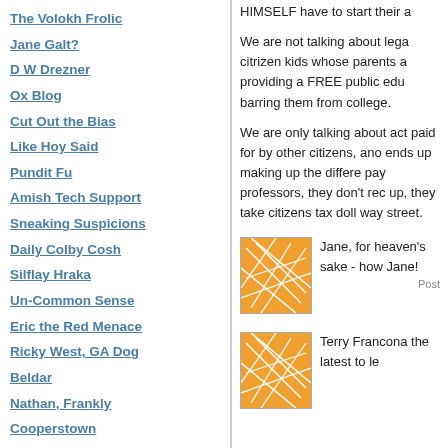The Volokh Frolic
Jane Galt?
D W Drezner
Ox Blog
Cut Out the Bias
Like Hoy Said
Pundit Fu
Amish Tech Support
Sneaking Suspicions
Daily Colby Cosh
Silflay Hraka
Un-Common Sense
Eric the Red Menace
Ricky West, GA Dog
Beldar
Nathan, Frankly
Cooperstown
A Gas, a Blog
HIMSELF have to start their a
We are not talking about lega citrizen kids whose parents a providing a FREE public edu barring them from college.
We are only talking about act paid for by other citizens, ano ends up making up the differe pay professors, they don't rec up, they take citizens tax doll way street.
[Figure (illustration): Orange and white geometric/abstract avatar icon with intersecting lines]
Jane, for heaven's sake - how Jane!
Posted
[Figure (illustration): Orange and white geometric/abstract avatar icon with intersecting lines]
Terry Francona the latest to le